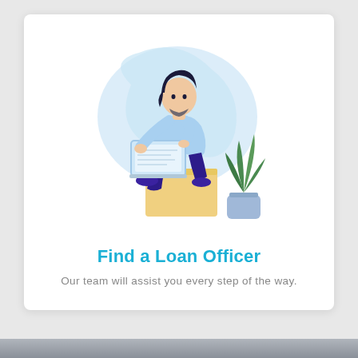[Figure (illustration): Flat illustration of a person with dark hair sitting on a yellow block, working on a laptop, with a green potted plant beside them and a light blue organic blob shape in the background]
Find a Loan Officer
Our team will assist you every step of the way.